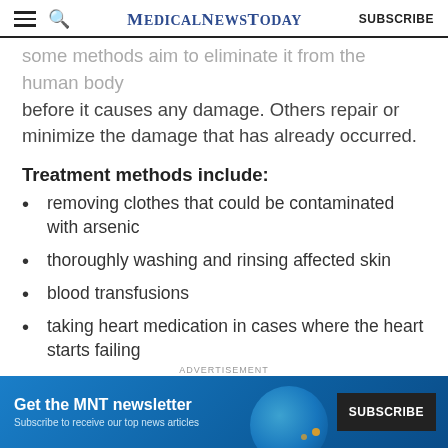MedicalNewsToday — SUBSCRIBE
some methods aim to eliminate it from the human body before it causes any damage. Others repair or minimize the damage that has already occurred.
Treatment methods include:
removing clothes that could be contaminated with arsenic
thoroughly washing and rinsing affected skin
blood transfusions
taking heart medication in cases where the heart starts failing
using mineral supplements that lower the risk of
[Figure (infographic): Advertisement banner for MNT newsletter subscription with globe graphic and Subscribe button]